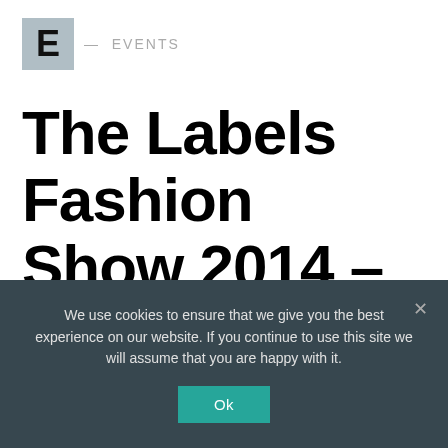E — EVENTS
The Labels Fashion Show 2014 – Saturday, October 11 | Events
We use cookies to ensure that we give you the best experience on our website. If you continue to use this site we will assume that you are happy with it.